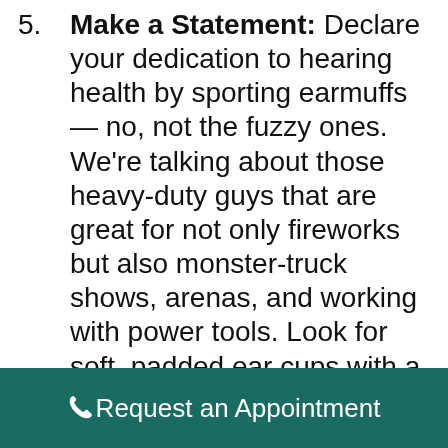5. Make a Statement: Declare your dedication to hearing health by sporting earmuffs — no, not the fuzzy ones. We're talking about those heavy-duty guys that are great for not only fireworks but also monster-truck shows, arenas, and working with power tools. Look for soft, padded ear cups with a slim headband so the earmuffs will stay in place comfortably. Those soft ear cups will help air circulation over the ear to keep your head cool. You can even find foldable, easy-to-carry earmuffs, as well as ones in fun colors for the kids.
Request an Appointment